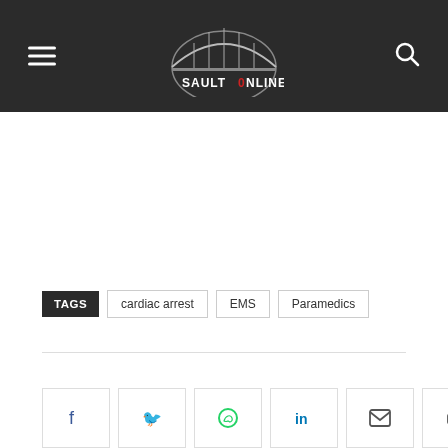SAULT ONLINE
TAGS  cardiac arrest  EMS  Paramedics
Social share icons: Facebook, Twitter, WhatsApp, LinkedIn, Email, Print